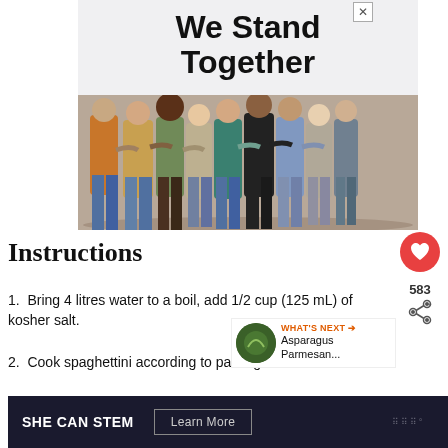[Figure (photo): Advertisement banner showing 'We Stand Together' text above a photo of a diverse group of people standing together with arms around each other, viewed from behind]
Instructions
1. Bring 4 litres water to a boil, add 1/2 cup (125 mL) of kosher salt.
2. Cook spaghettini according to package directions.
[Figure (photo): What's Next panel: Asparagus Parmesan... with circular food image]
[Figure (other): SHE CAN STEM advertisement banner with Learn More button]